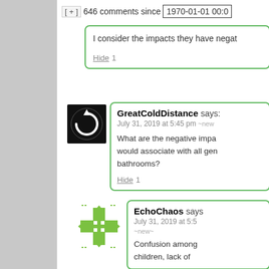[ + ] 646 comments since 1970-01-01 00:0
I consider the impacts they have negat
Hide 1
GreatColdDistance says: July 31, 2019 at 5:45 pm ~new
What are the negative impa would associate with all gen bathrooms?
Hide 1
EchoChaos says July 31, 2019 at 5:5
~new~
Confusion among children, lack of